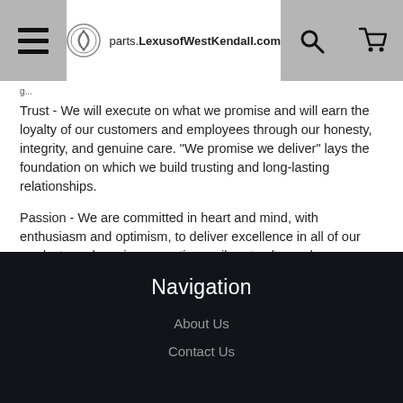parts.LexusofWestKendall.com
Trust - We will execute on what we promise and will earn the loyalty of our customers and employees through our honesty, integrity, and genuine care. "We promise we deliver" lays the foundation on which we build trusting and long-lasting relationships.
Passion - We are committed in heart and mind, with enthusiasm and optimism, to deliver excellence in all of our products and services, creating a vibrant culture where success can flourish. We use our drive and determination to engage and inspire our people.
Bean Automotive Group "We Promise; We Deliver"
Navigation
About Us
Contact Us